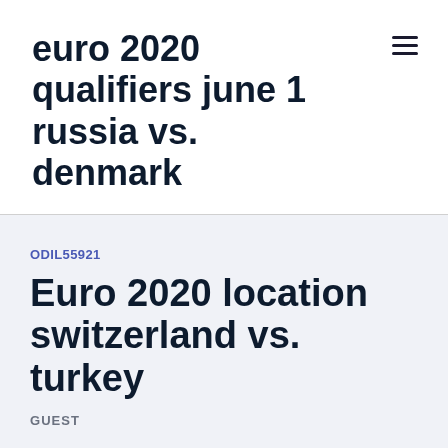euro 2020 qualifiers june 1 russia vs. denmark
ODIL55921
Euro 2020 location switzerland vs. turkey
GUEST
Volver. 6/20 6:00 PM. Switzerland vs.
Jetzt Switzerland vs Turkey  UEFA Euro 2020: Here is the full schedule of the prestigious tournament with